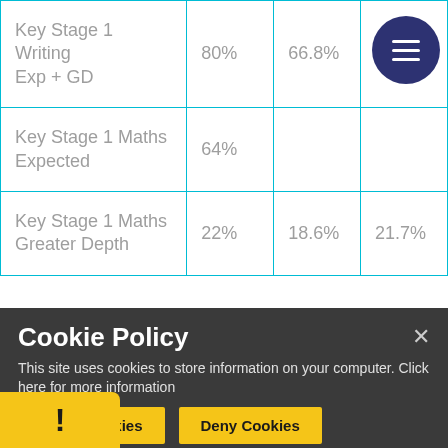|  |  |  |  |
| --- | --- | --- | --- |
| Key Stage 1 Writing Exp + GD | 80% | 66.8% | 69… |
| Key Stage 1 Maths Expected | 64% |  |  |
| Key Stage 1 Maths Greater Depth | 22% | 18.6% | 21.7% |
Cookie Policy
This site uses cookies to store information on your computer. Click here for more information
Allow Cookies | Deny Cookies